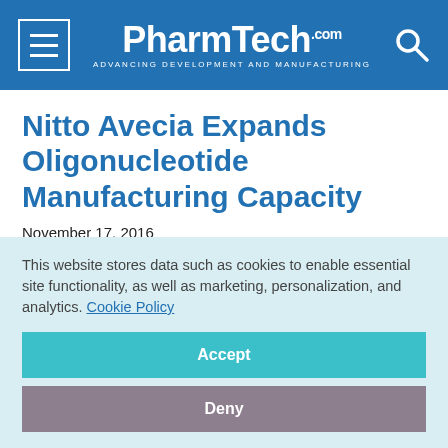PharmTech.com — Advancing Development and Manufacturing
Nitto Avecia Expands Oligonucleotide Manufacturing Capacity
November 17, 2016
Pharmaceutical Technology Editors
[Figure (other): Row of social media sharing icon circles (dark blue, light blue, gray/blue, red, gray)]
This website stores data such as cookies to enable essential site functionality, as well as marketing, personalization, and analytics. Cookie Policy
Accept
Deny